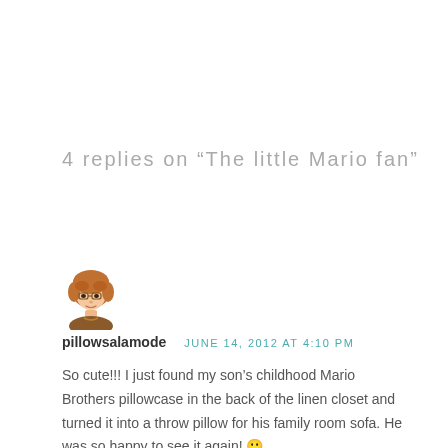4 replies on “The little Mario fan”
[Figure (illustration): Avatar illustration of a woman with short reddish-brown hair and glasses, wearing a brown top]
pillowsalamode   JUNE 14, 2012 AT 4:10 PM
So cute!!! I just found my son’s childhood Mario Brothers pillowcase in the back of the linen closet and turned it into a throw pillow for his family room sofa. He was so happy to see it again! 🙂